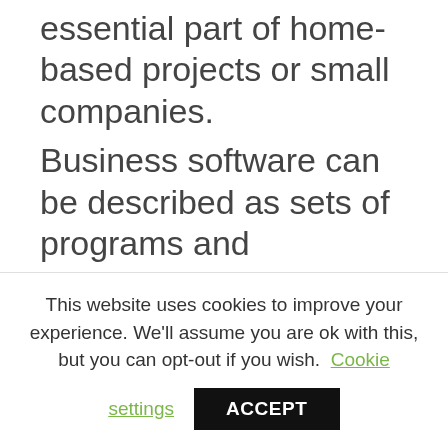essential part of home-based projects or small companies.

Business software can be described as sets of programs and applications that can be used in businesses to help business activities and increase productivity. While large businesses can tailor-make business softwares to suit their needs, medium to small sized businesses bank largely on small
This website uses cookies to improve your experience. We'll assume you are ok with this, but you can opt-out if you wish. Cookie settings ACCEPT